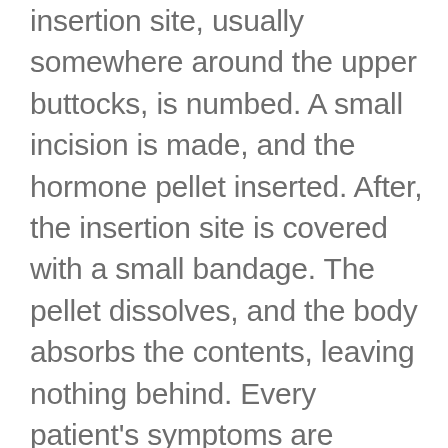insertion site, usually somewhere around the upper buttocks, is numbed. A small incision is made, and the hormone pellet inserted. After, the insertion site is covered with a small bandage. The pellet dissolves, and the body absorbs the contents, leaving nothing behind. Every patient's symptoms are unique, so each journey is customized to fit your needs. Some patients report seeing improvement in as little as four weeks, but full optimization can take up to six months